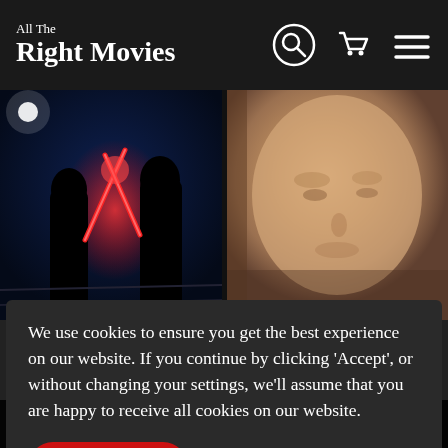All The Right Movies
[Figure (photo): Two silhouetted figures dueling with red lightsabers against dark blue background with a light in the upper left]
[Figure (photo): Close-up portrait of an older man's face with warm toned skin]
We use cookies to ensure you get the best experience on our website. If you continue by clicking ‘Accept’, or without changing your settings, we’ll assume that you are happy to receive all cookies on our website.
Accept
help us create more, please support us